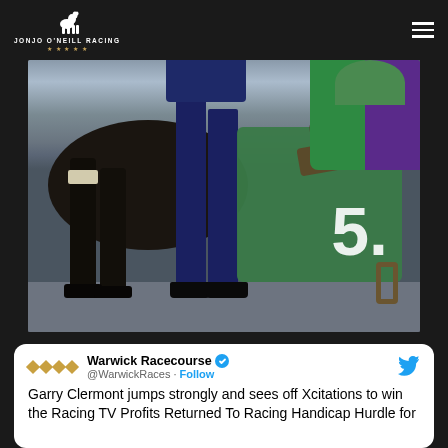Jonjo O'Neill Racing
[Figure (photo): Photo showing horse legs, a person in dark blue trousers and black shoes standing next to the horse, and a green saddle cloth with number 5, along with jockey in green and purple silks visible in background. Ground is a grey asphalt surface.]
Warwick Racecourse @WarwickRaces · Follow
Garry Clermont jumps strongly and sees off Xcitations to win the Racing TV Profits Returned To Racing Handicap Hurdle for